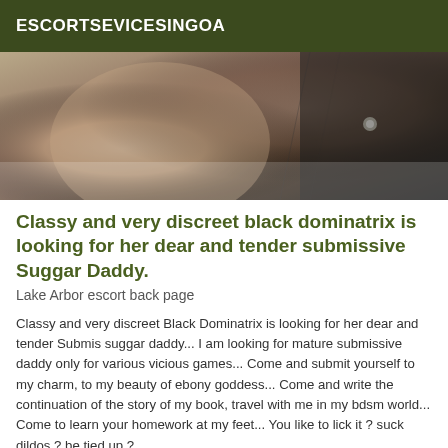ESCORTSEVICESINGOA
[Figure (photo): Close-up photo showing clothing/fabric details, appears to show portions of a person's outfit including what looks like a leather or dark jacket with a button/snap, and lighter colored fabric underneath.]
Classy and very discreet black dominatrix is looking for her dear and tender submissive Suggar Daddy.
Lake Arbor escort back page
Classy and very discreet Black Dominatrix is looking for her dear and tender Submis suggar daddy... I am looking for mature submissive daddy only for various vicious games... Come and submit yourself to my charm, to my beauty of ebony goddess... Come and write the continuation of the story of my book, travel with me in my bdsm world... Come to learn your homework at my feet... You like to lick it ? suck dildos ? be tied up ?